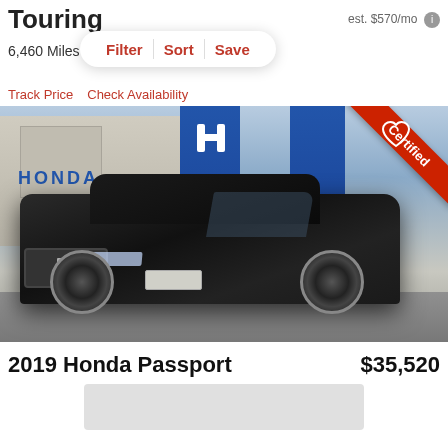Touring
est. $570/mo
6,460 Miles | Ho...
Filter  Sort  Save
Track Price   Check Availability
[Figure (photo): Black Honda Passport SUV parked in front of a Honda dealership with blue signage. A red 'Certified' ribbon is in the top right corner of the image.]
2019 Honda Passport
$35,520